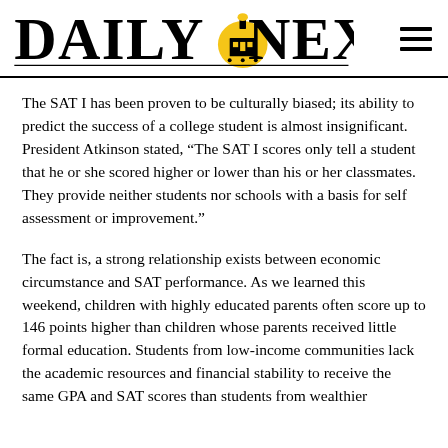Daily Nexus
The SAT I has been proven to be culturally biased; its ability to predict the success of a college student is almost insignificant. President Atkinson stated, “The SAT I scores only tell a student that he or she scored higher or lower than his or her classmates. They provide neither students nor schools with a basis for self assessment or improvement.”
The fact is, a strong relationship exists between economic circumstance and SAT performance. As we learned this weekend, children with highly educated parents often score up to 146 points higher than children whose parents received little formal education. Students from low-income communities lack the academic resources and financial stability to receive the same GPA and SAT scores than students from wealthier